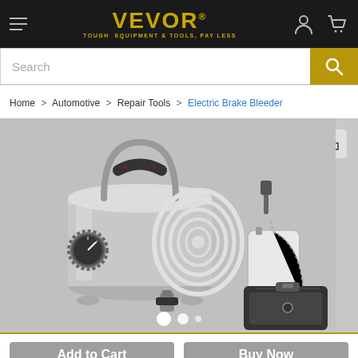VEVOR® — TOUGH EQUIPMENT & TOOLS, PAY LESS
Search
Home > Automotive > Repair Tools > Electric Brake Bleeder
[Figure (photo): Electric Brake Bleeder kit showing a stainless steel pressure tank with black carry handle, pressure gauge, coiled hoses, a clear fluid collection bottle with chain, and a black carry case. Image shown in grayscale on a light gray background with three white carousel indicator dots.]
Add to Cart
Buy Now